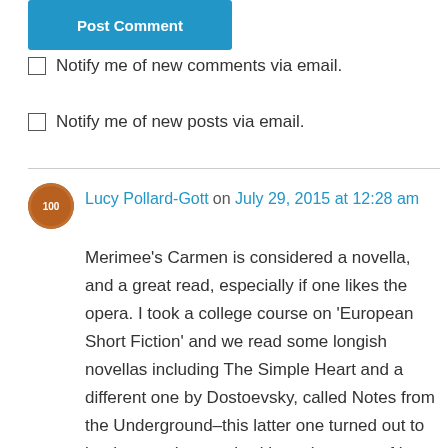[Figure (other): Post Comment button, blue background with white text]
Notify me of new comments via email.
Notify me of new posts via email.
Lucy Pollard-Gott on July 29, 2015 at 12:28 am
Merimee’s Carmen is considered a novella, and a great read, especially if one likes the opera. I took a college course on ‘European Short Fiction’ and we read some longish novellas including The Simple Heart and a different one by Dostoevsky, called Notes from the Underground–this latter one turned out to be the one that stuck with me because of its atmosphere, and I highly recommend it!